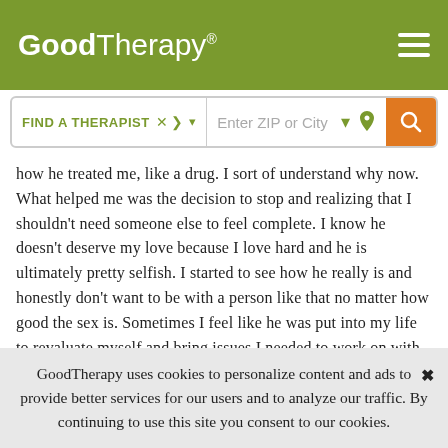GoodTherapy®
how he treated me, like a drug. I sort of understand why now. What helped me was the decision to stop and realizing that I shouldn't need someone else to feel complete. I know he doesn't deserve my love because I love hard and he is ultimately pretty selfish. I started to see how he really is and honestly don't want to be with a person like that no matter how good the sex is. Sometimes I feel like he was put into my life to revaluate myself and bring issues I needed to work on with myself to the surface. Since then, I started to work on my shadow side and heal my inner child to find peace. I also don't beat myself up for still feeling certain things because things
GoodTherapy uses cookies to personalize content and ads to provide better services for our users and to analyze our traffic. By continuing to use this site you consent to our cookies.